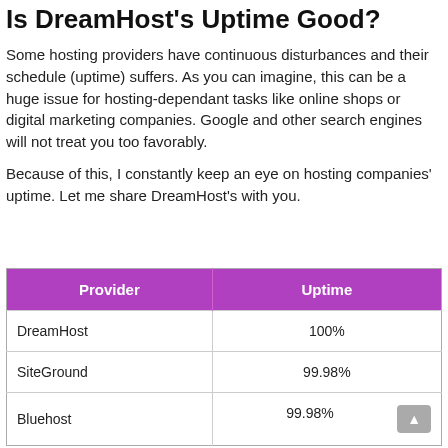Is DreamHost's Uptime Good?
Some hosting providers have continuous disturbances and their schedule (uptime) suffers. As you can imagine, this can be a huge issue for hosting-dependant tasks like online shops or digital marketing companies. Google and other search engines will not treat you too favorably.
Because of this, I constantly keep an eye on hosting companies' uptime. Let me share DreamHost's with you.
| Provider | Uptime |
| --- | --- |
| DreamHost | 100% |
| SiteGround | 99.98% |
| Bluehost | 99.98% |